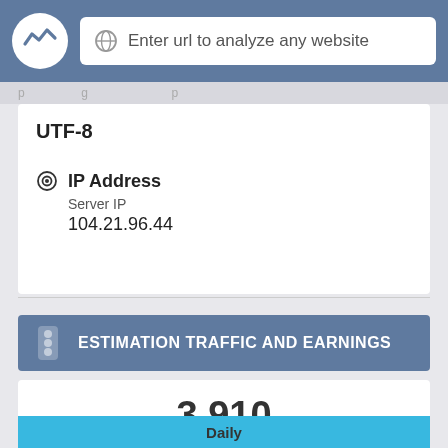Enter url to analyze any website
UTF-8
IP Address
Server IP
104.21.96.44
ESTIMATION TRAFFIC AND EARNINGS
3,910
Unique Visits
Daily